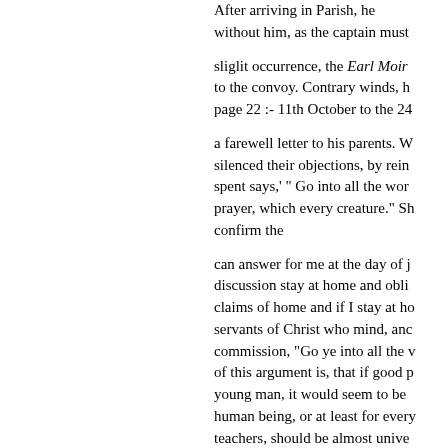After arriving in Parish, he without him, as the captain must
sliglit occurrence, the Earl Moirn to the convoy. Contrary winds, h page 22 :- 11th October to the 24
a farewell letter to his parents. W silenced their objections, by rein spent says,' " Go into all the wor prayer, which every creature." Sh confirm the
can answer for me at the day of j discussion stay at home and obli claims of home and if I stay at ho servants of Christ who mind, anc commission, "Go ye into all the v of this argument is, that if good p young man, it would seem to be human being, or at least for every teachers, should be almost unive it is almost difficult to say. At Br growing tendency to weigh the c in world in connexion with those
In the minds of the quotation